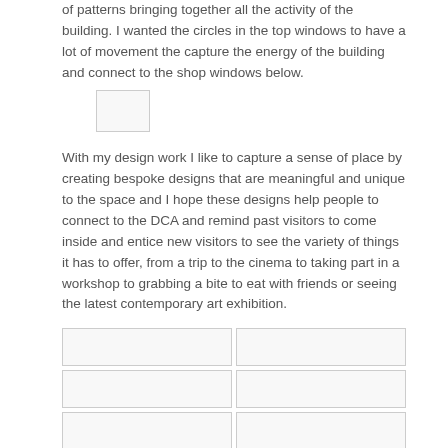of patterns bringing together all the activity of the building. I wanted the circles in the top windows to have a lot of movement the capture the energy of the building and connect to the shop windows below.
[Figure (other): Small image placeholder rectangle]
With my design work I like to capture a sense of place by creating bespoke designs that are meaningful and unique to the space and I hope these designs help people to connect to the DCA and remind past visitors to come inside and entice new visitors to see the variety of things it has to offer, from a trip to the cinema to taking part in a workshop to grabbing a bite to eat with friends or seeing the latest contemporary art exhibition.
[Figure (other): Grid of 10 image placeholder rectangles arranged in 2 columns and 5 rows]